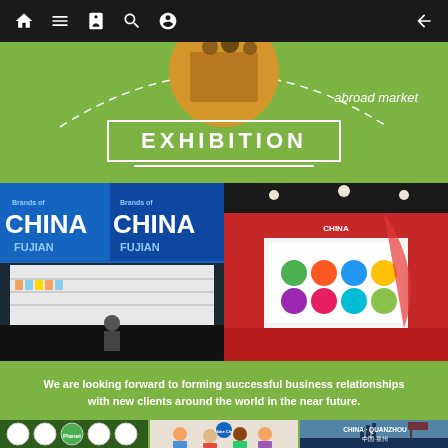Navigation bar with home, menu, book, search, person icons and back arrow
abroad market
EXHIBITION
[Figure (photo): Two exhibition booth photos side by side: left shows 'Brands of China Fujian' banner with white display stands; right shows red and white trade show booth with circular product displays]
We are looking forward to forming successful business relationships with new clients around the world in the near future.
[Figure (photo): Three partial exhibition photos at bottom: left shows circular brand logos display, center shows people at a booth with Make City branding, right shows China Quanzhou sign]